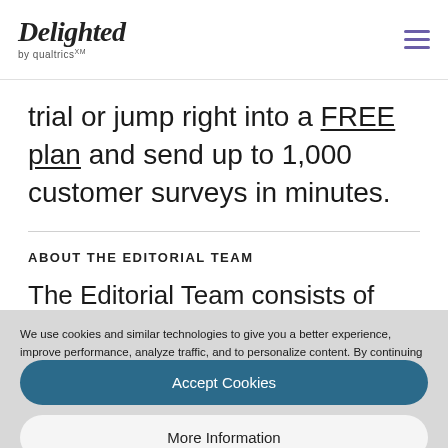Delighted by qualtrics
trial or jump right into a FREE plan and send up to 1,000 customer surveys in minutes.
ABOUT THE EDITORIAL TEAM
The Editorial Team consists of external and internal
We use cookies and similar technologies to give you a better experience, improve performance, analyze traffic, and to personalize content. By continuing to browse this website you agree to the use of cookies. For more information on how this website uses cookies, please select "Privacy Policy." To opt-out of cookies, please select "More Information."
Accept Cookies
More Information